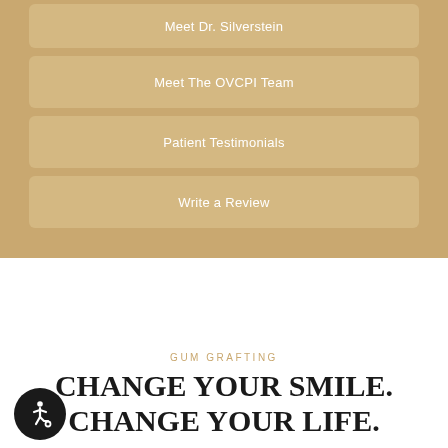Meet Dr. Silverstein
Meet The OVCPI Team
Patient Testimonials
Write a Review
GUM GRAFTING
CHANGE YOUR SMILE. CHANGE YOUR LIFE.
[Figure (other): Accessibility icon button (wheelchair symbol) in dark circle]